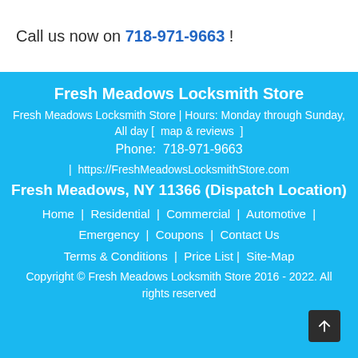Call us now on 718-971-9663 !
Fresh Meadows Locksmith Store
Fresh Meadows Locksmith Store | Hours: Monday through Sunday, All day [  map & reviews  ]
Phone:  718-971-9663
|  https://FreshMeadowsLocksmithStore.com
Fresh Meadows, NY 11366 (Dispatch Location)
Home  |  Residential  |  Commercial  |  Automotive  |  Emergency  |  Coupons  |  Contact Us
Terms & Conditions  |  Price List |  Site-Map
Copyright © Fresh Meadows Locksmith Store 2016 - 2022. All rights reserved